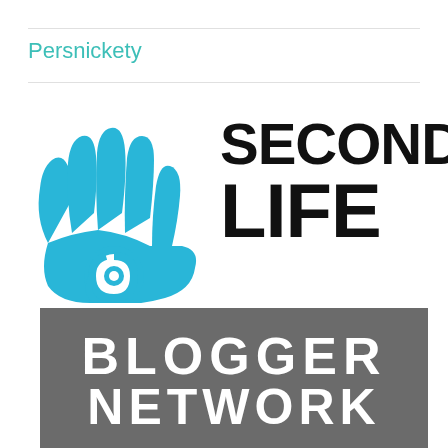Persnickety
[Figure (logo): Second Life Blogger Network logo consisting of a blue hand with an eye in the palm on the left, bold black text reading SECOND LIFE on the right, and a gray banner below reading BLOGGER NETWORK in white bold letters]